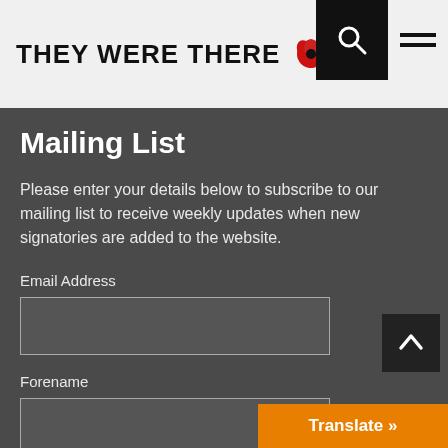THEY WERE THERE
Mailing List
Please enter your details below to subscribe to our mailing list to receive weekly updates when new signatories are added to the website.
Email Address
Forename
Surname